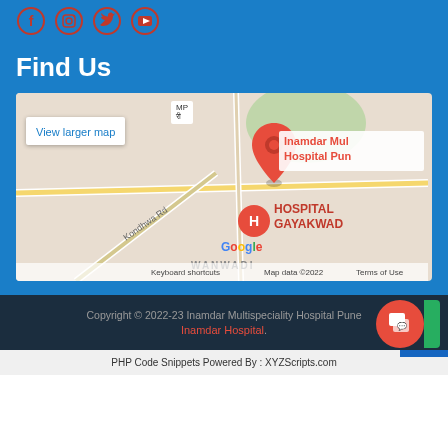[Figure (other): Social media icons (Facebook, Instagram, Twitter, YouTube) in red circle borders on blue background]
Find Us
[Figure (map): Google Maps embed showing location of Inamdar Multispeciality Hospital Pune, with red map pin, HOSPITAL GAYAKWAD marker, Kondhwa Rd, WANWADI area, Map data 2022, Terms of Use, Keyboard shortcuts]
[Figure (other): Phone call button (blue square with white phone icon) in bottom right]
Copyright © 2022-23 Inamdar Multispeciality Hospital Pune
Inamdar Hospital.
[Figure (other): Red circular feedback/chat button with white speech bubble icons, and green partial button]
PHP Code Snippets Powered By : XYZScripts.com